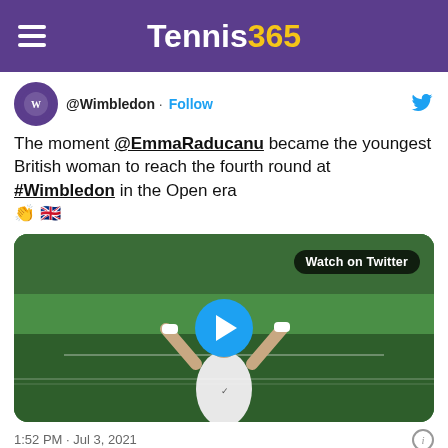Tennis365
@Wimbledon · Follow
The moment @EmmaRaducanu became the youngest British woman to reach the fourth round at #Wimbledon in the Open era 👏 🇬🇧
[Figure (screenshot): Video thumbnail showing Emma Raducanu celebrating on a tennis court with arms raised, with a blue play button overlay and 'Watch on Twitter' label]
1:52 PM · Jul 3, 2021